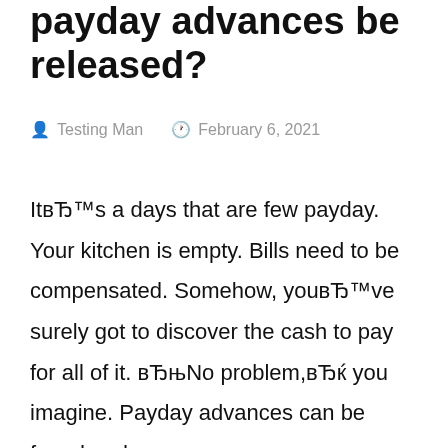payday advances be released?
Testing Man   February 6, 2021
ItвЂ™s a days that are few payday. Your kitchen is empty. Bills need to be compensated. Somehow, youвЂ™ve surely got to discover the cash to pay for all of it. вЂњNo problem,вЂќ you imagine. Payday advances can be found and https://thepaydayloanstore.com/ you may get